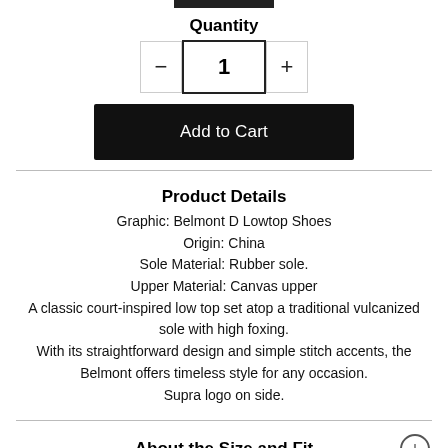[Figure (other): Black bar/button at top of page, partially cropped]
Quantity
− 1 +
Add to Cart
Product Details
Graphic: Belmont D Lowtop Shoes
Origin: China
Sole Material: Rubber sole.
Upper Material: Canvas upper
A classic court-inspired low top set atop a traditional vulcanized sole with high foxing.
With its straightforward design and simple stitch accents, the Belmont offers timeless style for any occasion.
Supra logo on side.
About the Size and Fit